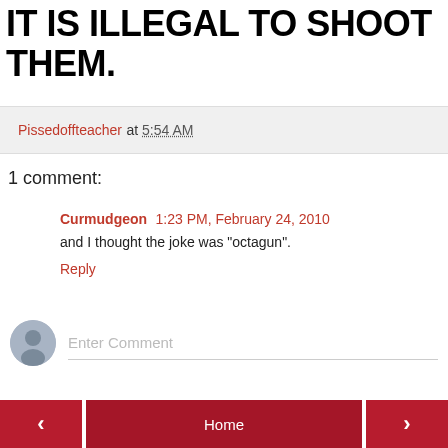IT IS ILLEGAL TO SHOOT THEM.
Pissedoffteacher at 5:54 AM
1 comment:
Curmudgeon 1:23 PM, February 24, 2010
and I thought the joke was "octagun".
Reply
Enter Comment
< Home >